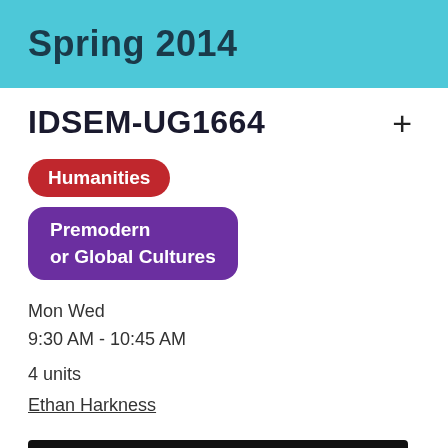Spring 2014
IDSEM-UG1664
Humanities
Premodern or Global Cultures
Mon Wed
9:30 AM - 10:45 AM
4 units
Ethan Harkness
+ SAVE TO MY COURSES